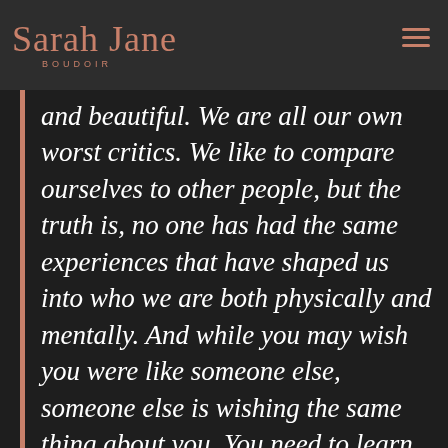[Figure (logo): Sarah Jane Boudoir logo in rose gold script lettering on dark background]
and beautiful. We are all our own worst critics. We like to compare ourselves to other people, but the truth is, no one has had the same experiences that have shaped us into who we are both physically and mentally. And while you may wish you were like someone else, someone else is wishing the same thing about you. You need to learn to embrace yourself. And really, there's nothing easier than a